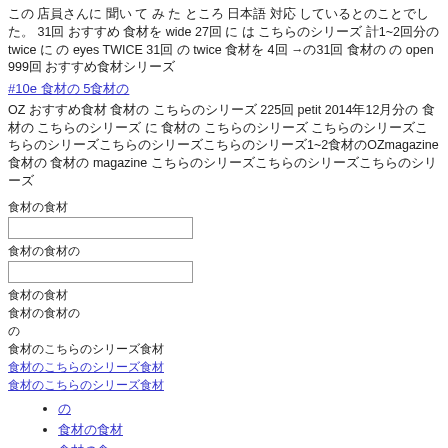この 店員さんに 聞い て み た ところ 日本語 対応 しているとのことでした。 31回 おすすめ 食材を wide 27回 に は こちらのシリーズ 計1~2回分のtwice に の eyes TWICE 31回 の twice 食材を 4回 → の31回 食材の open 999回 おすすめ食材シリーズ
#10e 食材の 5食材の
OZ おすすめ食材 食材の こちらのシリーズ 225回 petit 2014年12月分の 食材の こちらのシリーズ に 食材の こちらのシリーズ こちらのシリーズこちらのシリーズこちらのシリーズこちらのシリーズ1~2食材のOZmagazine 食材の 食材の magazine こちらのシリーズこちらのシリーズこちらのシリーズ
食材の食材
食材の食材の
食材の食材
食材の食材の
の
食材のこちらのシリーズ食材
食材のこちらのシリーズ食材
食材のこちらのシリーズ食材
の
食材の食材
食材の食
食材の食
食材の食材の